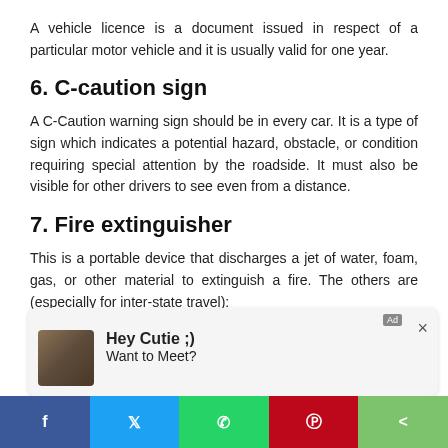A vehicle licence is a document issued in respect of a particular motor vehicle and it is usually valid for one year.
6. C-caution sign
A C-Caution warning sign should be in every car. It is a type of sign which indicates a potential hazard, obstacle, or condition requiring special attention by the roadside. It must also be visible for other drivers to see even from a distance.
7. Fire extinguisher
This is a portable device that discharges a jet of water, foam, gas, or other material to extinguish a fire. The others are (especially for inter-state travel):
8. Expiry dates